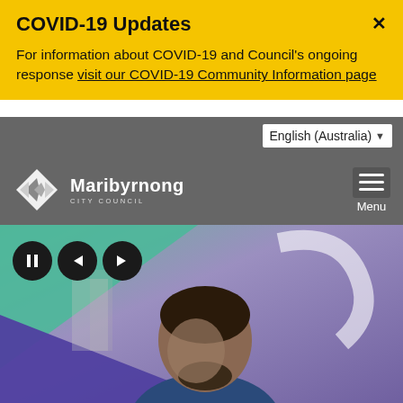COVID-19 Updates
For information about COVID-19 and Council's ongoing response visit our COVID-19 Community Information page
English (Australia)
[Figure (logo): Maribyrnong City Council logo with diamond/arrow icon and council name]
Menu
[Figure (photo): A man with a beard wearing a blue jacket, standing in front of a colorful background with large golden number shapes]